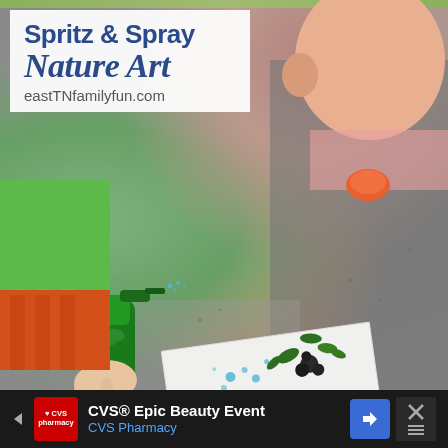[Figure (photo): Child's hand holding a green spray bottle, spraying paint onto a white paper card with nature items (leaves, berries) arranged on it, set on a concrete/granite surface outdoors. A child in a green and red outfit is visible. The background shows rough stone/concrete texture.]
Spritz & Spray Nature Art
eastTNfamilyfun.com
CVS® Epic Beauty Event CVS Pharmacy